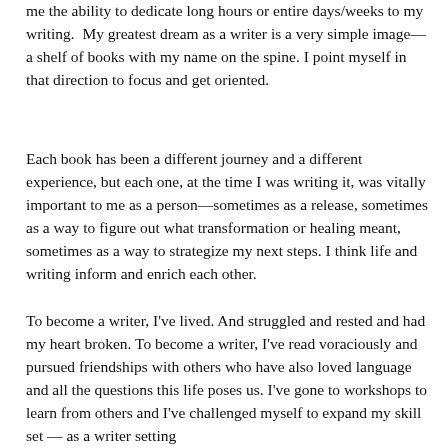me the ability to dedicate long hours or entire days/weeks to my writing.  My greatest dream as a writer is a very simple image—a shelf of books with my name on the spine. I point myself in that direction to focus and get oriented.
Each book has been a different journey and a different experience, but each one, at the time I was writing it, was vitally important to me as a person—sometimes as a release, sometimes as a way to figure out what transformation or healing meant, sometimes as a way to strategize my next steps. I think life and writing inform and enrich each other.
To become a writer, I've lived. And struggled and rested and had my heart broken. To become a writer, I've read voraciously and pursued friendships with others who have also loved language and all the questions this life poses us. I've gone to workshops to learn from others and I've challenged myself to expand my skill set — as a writer setting